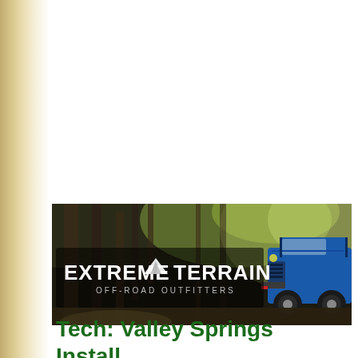[Figure (logo): ExtremeTerrain Off-Road Outfitters banner with a blue Jeep Wrangler in a forest setting]
Tech: Valley Springs Install